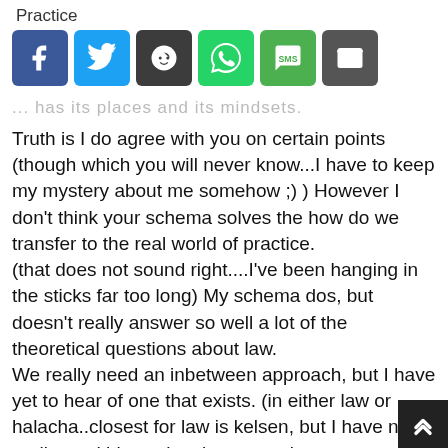Practice
[Figure (screenshot): Social media share buttons row: Facebook (blue), Twitter (light blue), Reddit (dark gray), WhatsApp (green), SMS (green), Email (gray)]
...has its places and its mindsets.
Truth is I do agree with you on certain points (though which you will never know...I have to keep my mystery about me somehow ;) ) However I don't think your schema solves the how do we transfer to the real world of practice.
(that does not sound right....I've been hanging in the sticks far too long) My schema dos, but doesn't really answer so well a lot of the theoretical questions about law.
We really need an inbetween approach, but I have yet to hear of one that exists. (in either law or halacha..closest for law is kelsen, but I have never really read his work only summaries so cannot personally vouch)